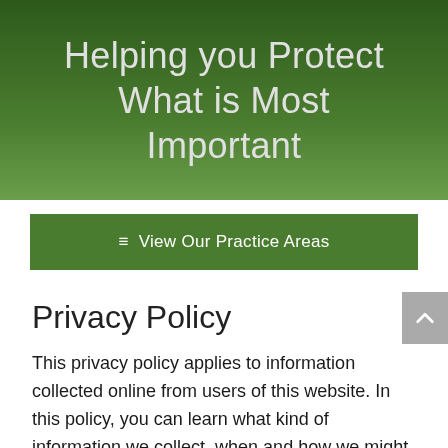Helping you Protect What is Most Important
≡ View Our Practice Areas
Privacy Policy
This privacy policy applies to information collected online from users of this website. In this policy, you can learn what kind of information we collect, when and how we might use that information, how we protect the information, and the choices you have with respect to your personal information.